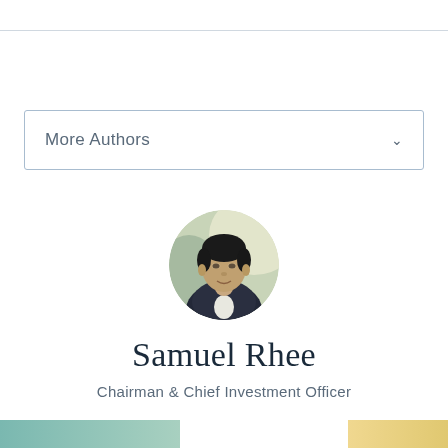More Authors
[Figure (photo): Circular portrait photo of Samuel Rhee, a man in a dark suit with white shirt, against a blurred background]
Samuel Rhee
Chairman & Chief Investment Officer